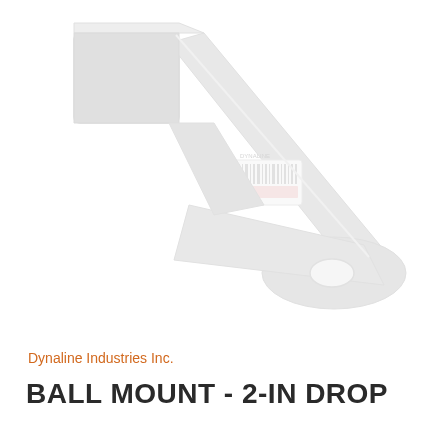[Figure (photo): A ball mount with 2-inch drop, photographed at an angle. The metal component is light grey/silver colored, showing a square receiver tube end on the upper left and a flat platform with a round hole for the ball on the lower right. A barcode label with red accent is visible on the shaft. The image is rendered in a faded/ghosted style against a white background.]
Dynaline Industries Inc.
BALL MOUNT - 2-IN DROP